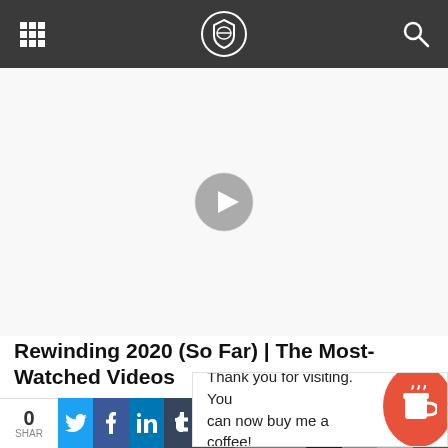Navigation bar with grid menu, logo, and search icon
[Figure (screenshot): Video player placeholder with white background and circular play button in center]
Rewinding 2020 (So Far) | The Most-Watched Videos
2020-06-30
Thank you for visiting. You can now buy me a coffee!
0 SHAR | Twitter | Facebook | LinkedIn | Tumblr | Pinterest | Reddit | Pocket | Skull | Email | Print | More